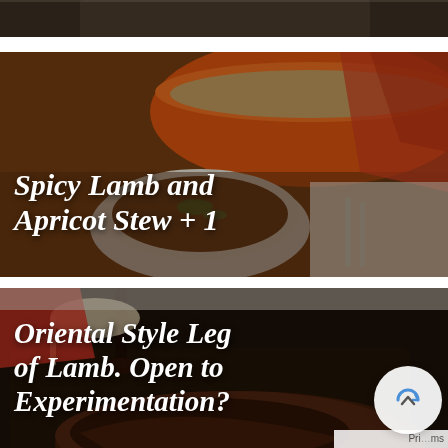[Figure (photo): Partial top image, cropped food photo at top of page]
[Figure (photo): Food photo showing a white bowl of Spicy Lamb and Apricot Stew with an orange Dutch oven and red/orange cloth in background, with title text overlay]
Spicy Lamb and Apricot Stew + 1
[Figure (photo): Food photo showing a roasted leg of lamb on a dark tray with gravy being spooned over it, with title text overlay]
Oriental Style Leg of Lamb. Open to Experimentation?